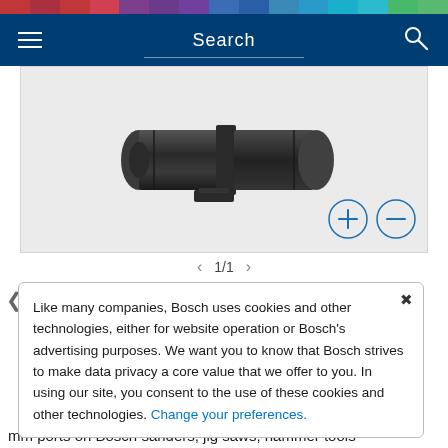Search
[Figure (photo): Close-up product photo of a dark grey cylindrical tool adapter/connector piece on a light grey background, with zoom in (+) and zoom out (-) circular buttons in the bottom right corner.]
1/1
Like many companies, Bosch uses cookies and other technologies, either for website operation or Bosch's advertising purposes. We want you to know that Bosch strives to make data privacy a core value that we offer to you. In using our site, you consent to the use of these cookies and other technologies. Change your preferences.
mm ports on Bosch sanders, jig saws, hammer tools